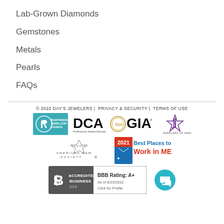Lab-Grown Diamonds
Gemstones
Metals
Pearls
FAQs
© 2022 DAY'S JEWELERS | PRIVACY & SECURITY | TERMS OF USE
[Figure (logo): Responsible Jewellery Council logo, DCA Professional Jewelry Educators logo, GIA logo with seal, Jewelers of America logo]
[Figure (logo): American Gem Society logo, 2021 Best Places to Work in ME logo]
[Figure (logo): BBB Accredited Business badge with BBB Rating: A+, As of 8/23/2022, Click for Profile; teal chat button]